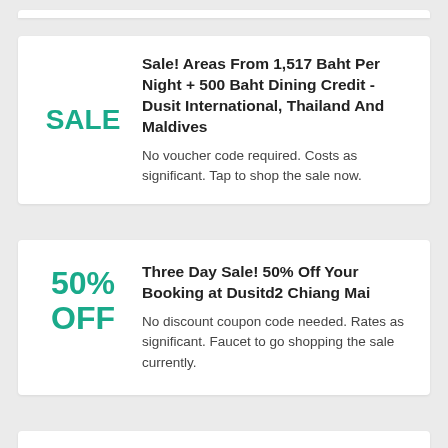Sale! Areas From 1,517 Baht Per Night + 500 Baht Dining Credit - Dusit International, Thailand And Maldives
No voucher code required. Costs as significant. Tap to shop the sale now.
Three Day Sale! 50% Off Your Booking at Dusitd2 Chiang Mai
No discount coupon code needed. Rates as significant. Faucet to go shopping the sale currently.
As much as 35% Off Dusit Princess Chiang Mai, Thailand